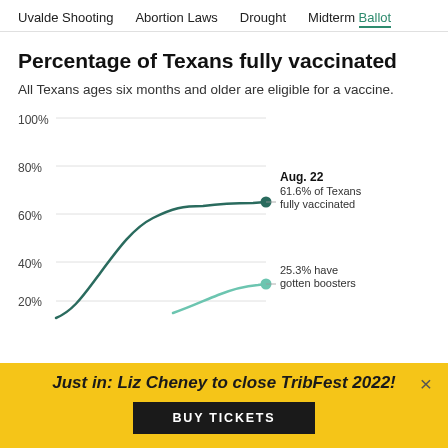Uvalde Shooting | Abortion Laws | Drought | Midterm Ballot
Percentage of Texans fully vaccinated
All Texans ages six months and older are eligible for a vaccine.
[Figure (line-chart): Percentage of Texans fully vaccinated]
Just in: Liz Cheney to close TribFest 2022!
BUY TICKETS